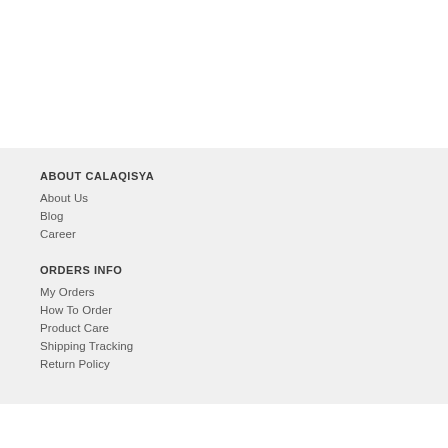ABOUT CALAQISYA
About Us
Blog
Career
ORDERS INFO
My Orders
How To Order
Product Care
Shipping Tracking
Return Policy